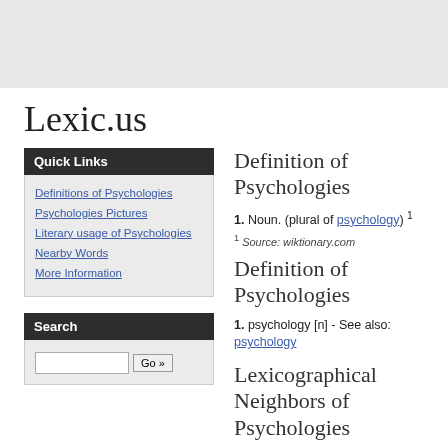Lexic.us
Quick Links
Definitions of Psychologies
Psychologies Pictures
Literary usage of Psychologies
Nearby Words
More Information
Search
Definition of Psychologies
1. Noun. (plural of psychology) ¹
¹ Source: wiktionary.com
Definition of Psychologies
1. psychology [n] - See also: psychology
Lexicographical Neighbors of Psychologies